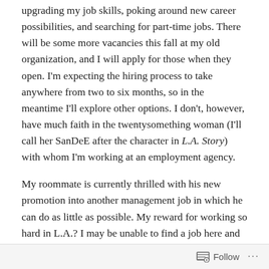upgrading my job skills, poking around new career possibilities, and searching for part-time jobs. There will be some more vacancies this fall at my old organization, and I will apply for those when they open. I'm expecting the hiring process to take anywhere from two to six months, so in the meantime I'll explore other options. I don't, however, have much faith in the twentysomething woman (I'll call her SanDeE after the character in L.A. Story) with whom I'm working at an employment agency.
My roommate is currently thrilled with his new promotion into another management job in which he can do as little as possible. My reward for working so hard in L.A.? I may be unable to find a job here and may have to drag my tired body back there for more abuse.
Follow